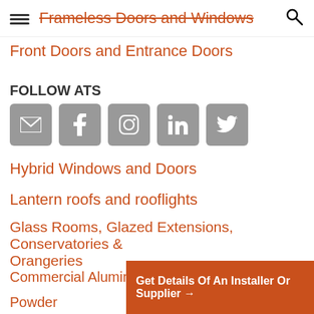Frameless Doors and Windows
Front Doors and Entrance Doors
FOLLOW ATS
[Figure (other): Social media icons: email, facebook, instagram, linkedin, twitter]
Hybrid Windows and Doors
Lantern roofs and rooflights
Glass Rooms, Glazed Extensions, Conservatories & Orangeries
Commercial Aluminium Doors
Powder
Get Details Of An Installer Or Supplier →